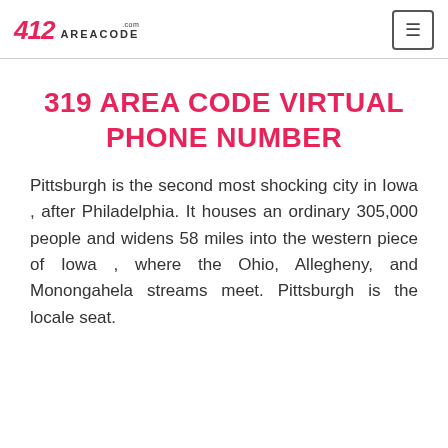412 AREACODE.com
319 AREA CODE VIRTUAL PHONE NUMBER
Pittsburgh is the second most shocking city in Iowa , after Philadelphia. It houses an ordinary 305,000 people and widens 58 miles into the western piece of Iowa , where the Ohio, Allegheny, and Monongahela streams meet. Pittsburgh is the locale seat.